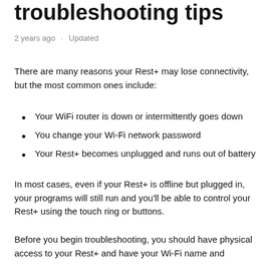troubleshooting tips
2 years ago · Updated
There are many reasons your Rest+ may lose connectivity, but the most common ones include:
Your WiFi router is down or intermittently goes down
You change your Wi-Fi network password
Your Rest+ becomes unplugged and runs out of battery
In most cases, even if your Rest+ is offline but plugged in, your programs will still run and you'll be able to control your Rest+ using the touch ring or buttons.
Before you begin troubleshooting, you should have physical access to your Rest+ and have your Wi-Fi name and password handy. When troubleshooting, a connection is